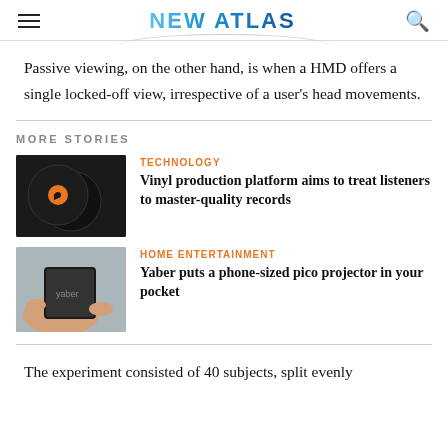NEW ATLAS
Passive viewing, on the other hand, is when a HMD offers a single locked-off view, irrespective of a user's head movements.
MORE STORIES
[Figure (photo): Two black vinyl records with orange label]
TECHNOLOGY
Vinyl production platform aims to treat listeners to master-quality records
[Figure (photo): Person holding a small black pico projector device]
HOME ENTERTAINMENT
Yaber puts a phone-sized pico projector in your pocket
The experiment consisted of 40 subjects, split evenly